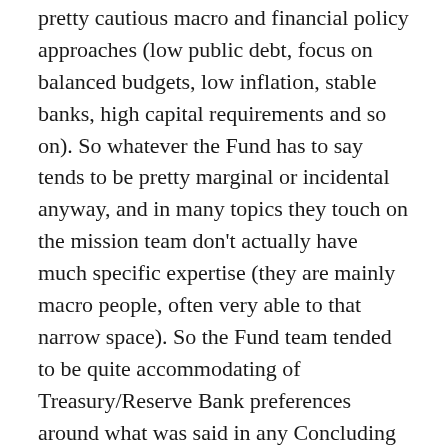pretty cautious macro and financial policy approaches (low public debt, focus on balanced budgets, low inflation, stable banks, high capital requirements and so on). So whatever the Fund has to say tends to be pretty marginal or incidental anyway, and in many topics they touch on the mission team don't actually have much specific expertise (they are mainly macro people, often very able to that narrow space). So the Fund team tended to be quite accommodating of Treasury/Reserve Bank preferences around what was said in any Concluding Statement, with a focus on “what would be helpful” to the authorities at that time. And this, of course, is only the end of days and days of meetings – often some wining and dining too (although I guess not this year) – in